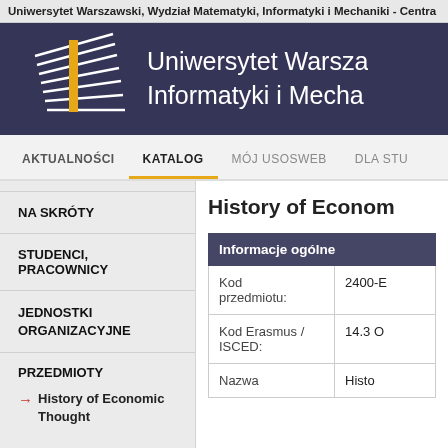Uniwersytet Warszawski, Wydział Matematyki, Informatyki i Mechaniki - Centra
[Figure (logo): University of Warsaw Faculty logo - white horizontal lines forming a stylized open book or fan shape with a yellow vertical bar]
Uniwersytet Warszawski, Wydział Matematyki i Informatyki i Mechaniki
AKTUALNOŚCI
KATALOG
MÓJ USOSWEB
DLA STU
NA SKRÓTY
STUDENCI, PRACOWNICY
JEDNOSTKI ORGANIZACYJNE
PRZEDMIOTY
History of Economic Thought
History of Econom
|  |  |
| --- | --- |
| Informacje ogólne |  |
| Kod przedmiotu: | 2400-E |
| Kod Erasmus / ISCED: | 14.3 O |
| Nazwa | Histo |